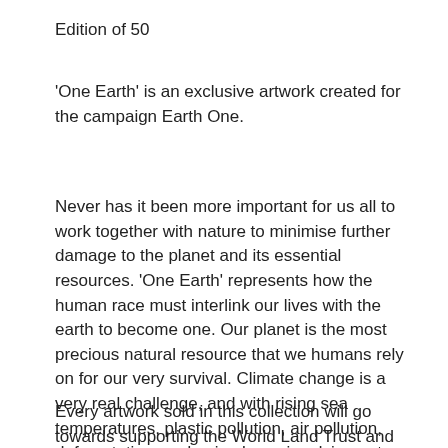Edition of 50
'One Earth' is an exclusive artwork created for the campaign Earth One.
Never has it been more important for us all to work together with nature to minimise further damage to the planet and its essential resources. 'One Earth' represents how the human race must interlink our lives with the earth to become one. Our planet is the most precious natural resource that we humans rely on for our very survival. Climate change is a very real challenge, and with rising sea temperatures, plastic pollution, air pollution, deforestation, and animal species dying out, NOW is our last chance to act to save the planet that we call home before the effects of human activity cannot be reversed.
Every artwork sold in this collection will go towards supporting the World Land Trust and their Buy an Acre campaign. All net proceeds for the artworks in this campaign will be donated